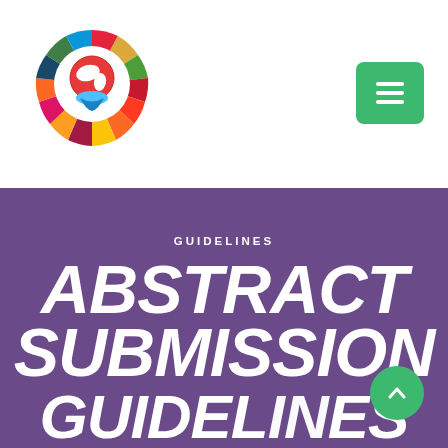[Figure (logo): Colorful SDG wheel logo with globe and hand icon in center, featuring multi-colored segments around the circle]
[Figure (other): Green square button with hamburger menu icon (three horizontal lines)]
GUIDELINES
ABSTRACT SUBMISSION GUIDELINES